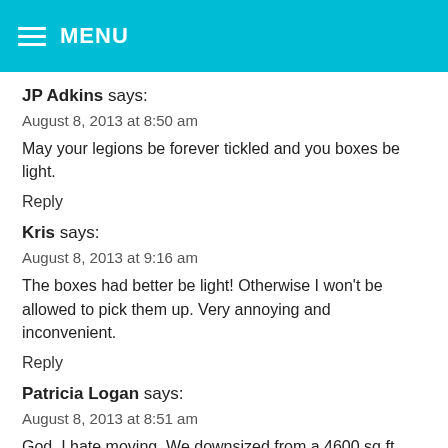MENU
JP Adkins says:
August 8, 2013 at 8:50 am
May your legions be forever tickled and you boxes be light.
Reply
Kris says:
August 8, 2013 at 9:16 am
The boxes had better be light! Otherwise I won't be allowed to pick them up. Very annoying and inconvenient.
Reply
Patricia Logan says:
August 8, 2013 at 8:51 am
God, I hate moving. We downsized from a 4600 sq.ft house to 1900 a year and a half ago. I have never been so sick in my life